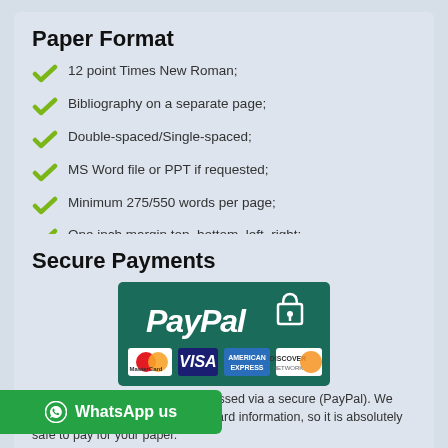Paper Format
12 point Times New Roman;
Bibliography on a separate page;
Double-spaced/Single-spaced;
MS Word file or PPT if requested;
Minimum 275/550 words per page;
One inch margin top, bottom, left, right;
Title & Reference pages are FREE of charge.
Secure Payments
[Figure (logo): PayPal secure payment logo with MasterCard, VISA, American Express, and Discover card icons]
Your online payment will be processed via a secure (PayPal). We don't have access to your credit card information, so it is absolutely safe to pay for your paper.
WhatsApp us